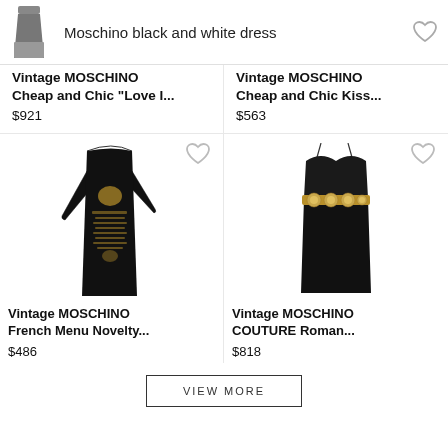Moschino black and white dress
Vintage MOSCHINO Cheap and Chic "Love I...
$921
Vintage MOSCHINO Cheap and Chic Kiss...
$563
[Figure (photo): Black long-sleeve Vintage MOSCHINO French Menu Novelty dress with gold print]
Vintage MOSCHINO French Menu Novelty...
$486
[Figure (photo): Black strapless Vintage MOSCHINO COUTURE Roman dress with gold embellishment at waist]
Vintage MOSCHINO COUTURE Roman...
$818
VIEW MORE